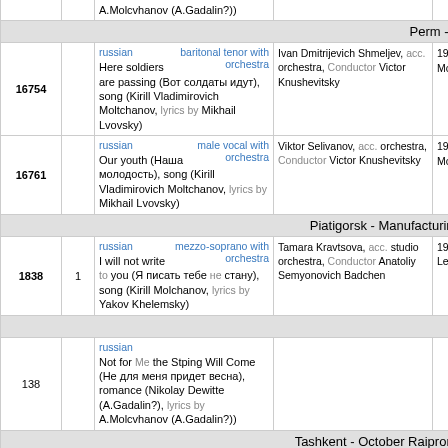| # | Track | Content | Artist | Year |
| --- | --- | --- | --- | --- |
|  |  | A.Molcvhanov (A.Gadalin?)) |  |  |
| Perm - KAMA |  |  |  |  |
| 16754 |  | russian | baritonal tenor with orchestra
Here soldiers are passing (Вот солдаты идут), song (Kirill Vladimirovich Moltchanov, lyrics by Mikhail Lvovsky) | Ivan Dmitrijevich Shmeljev, acc. orchestra, Conductor Victor Knushevitsky | 194 Mo |
| 16761 |  | russian | male vocal with orchestra
Our youth (Наша молодость), song (Kirill Vladimirovich Moltchanov, lyrics by Mikhail Lvovsky) | Viktor Selivanov, acc. orchestra, Conductor Victor Knushevitsky | 194 Mo |
| Piatigorsk - Manufacturing plan |  |  |  |  |
| 1838 | 1 | russian | mezzo-soprano with orchestra
I will not write to you (Я писать тебе не стану), song (Kirill Molchanov, lyrics by Yakov Khelemsky) | Tamara Kravtsova, acc. studio orchestra, Conductor Anatoliy Semyonovich Badchen | 195 Le |
| Scores |  |  |  |  |
| 138 |  | russian
Not for Me the Stping Will Come (Не для меня придет весна), romance (Nikolay Dewitte (A.Gadalin?), lyrics by A.Molcvhanov (A.Gadalin?)) |  |  |
| Tashkent - October Raipromkomb |  |  |  |  |